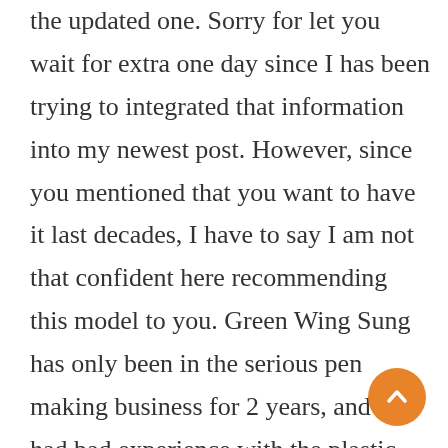the updated one. Sorry for let you wait for extra one day since I has been trying to integrated that information into my newest post. However, since you mentioned that you want to have it last decades, I have to say I am not that confident here recommending this model to you. Green Wing Sung has only been in the serious pen making business for 2 years, and I had bad experience with the plastic material they were using in the early days–